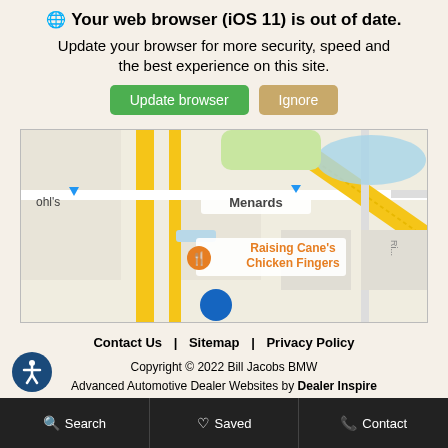🌐 Your web browser (iOS 11) is out of date.
Update your browser for more security, speed and the best experience on this site.
Update browser | Ignore
[Figure (map): Partial Google Maps screenshot showing Raising Cane's Chicken Fingers and Menards locations with street map]
Contact Us   Sitemap   Privacy Policy
Copyright © 2022 Bill Jacobs BMW
Advanced Automotive Dealer Websites by Dealer Inspire
Search   Saved   Contact